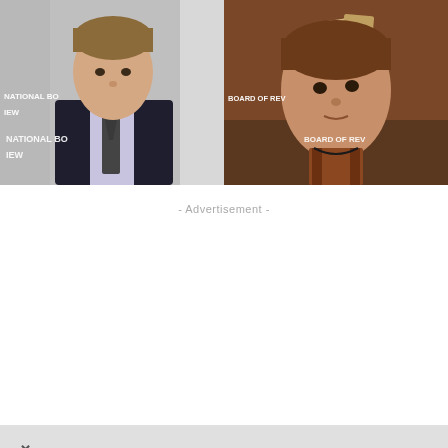[Figure (photo): Side-by-side photos: left shows a young man in a dark suit with tie at a National Board of Review event; right shows a young male video game character holding papers/documents in a dramatic scene]
- Advertisement -
[Figure (photo): Mobile game advertisement banner with orange gradient background. Text reads 'Love this game Can't stop playing!' with a green 'Download Now' button and colorful bubble/candy game graphics. Badge reads 'Battle Shooter Animal World'. Has a close X button.]